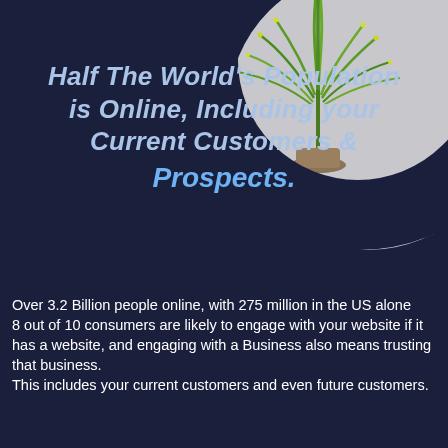[Figure (illustration): A dark navy background with a large light gray circle in the top-right corner. A green spiky plant sits on top of the circle. A dark navy arc/border overlaps the bottom-left of the circle, creating a layered decorative effect.]
Half The World's Population is Online, Including your Current Customers & Prospects.
Over 3.2 Billion people online, with 275 million in the US alone
8 out of 10 consumers are likely to engage with your website if it has a website, and engaging with a Business also means trusting that business.
This includes your current customers and even future customers.